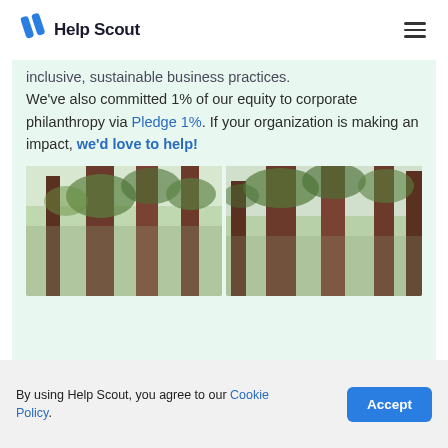Help Scout
inclusive, sustainable business practices. We've also committed 1% of our equity to corporate philanthropy via Pledge 1%. If your organization is making an impact, we'd love to help!
[Figure (photo): Two side-by-side photos of tall redwood or sequoia trees viewed from below, with green foliage and reddish-brown trunks against a pale sky.]
By using Help Scout, you agree to our Cookie Policy.